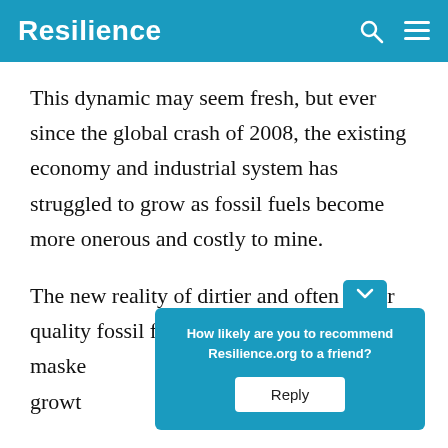Resilience
This dynamic may seem fresh, but ever since the global crash of 2008, the existing economy and industrial system has struggled to grow as fossil fuels become more onerous and costly to mine.
The new reality of dirtier and often lower quality fossil fuels has been pre- much masked spark growth -y
[Figure (screenshot): Popup overlay with question 'How likely are you to recommend Resilience.org to a friend?' and a Reply button, displayed over article text]